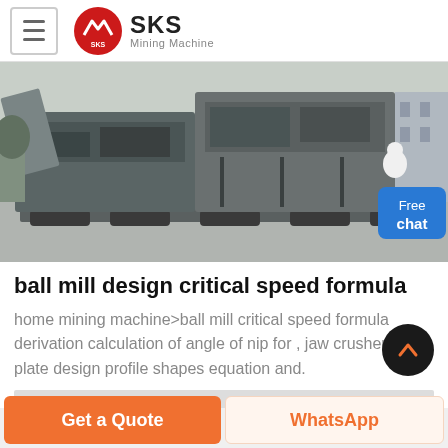SKS Mining Machine
[Figure (photo): A large mobile crushing machine (jaw crusher) on a flatbed truck in an industrial yard. Heavy grey machinery with conveyor components visible. A customer service representative icon overlaid in bottom-right corner with a 'Free chat' button.]
ball mill design critical speed formula
home mining machine>ball mill critical speed formula derivation calculation of angle of nip for , jaw crusher liner plate design profile shapes equation and.
[Figure (other): Back to top circular dark button with upward arrow]